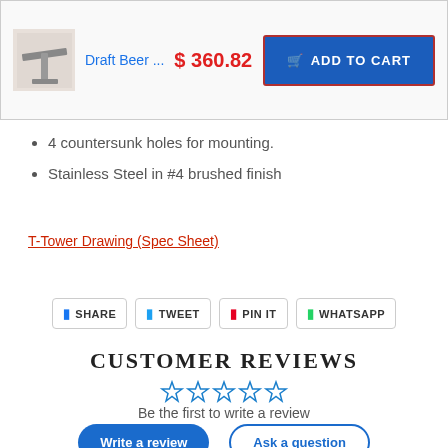[Figure (screenshot): Product cart bar with thumbnail image of a draft beer T-tower, product title 'Draft Beer ...', price '$360.82', and a blue 'ADD TO CART' button with red border]
4 countersunk holes for mounting.
Stainless Steel in #4 brushed finish
T-Tower Drawing (Spec Sheet)
SHARE  TWEET  PIN IT  WHATSAPP
CUSTOMER REVIEWS
Be the first to write a review
Write a review  Ask a question